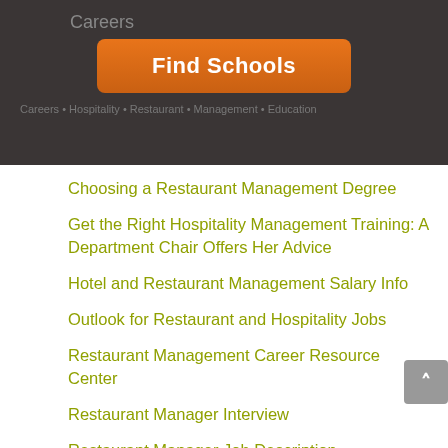Careers
[Figure (screenshot): Orange 'Find Schools' button on dark background]
Choosing a Restaurant Management Degree
Get the Right Hospitality Management Training: A Department Chair Offers Her Advice
Hotel and Restaurant Management Salary Info
Outlook for Restaurant and Hospitality Jobs
Restaurant Management Career Resource Center
Restaurant Manager Interview
Restaurant Manager Job Description